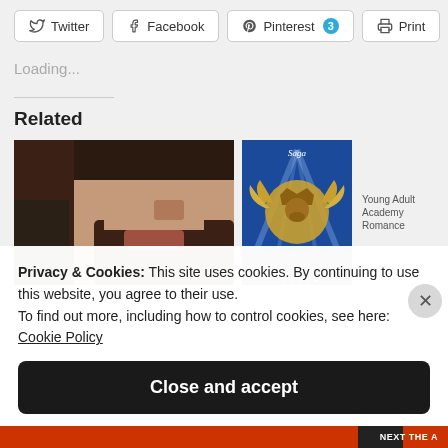[Figure (screenshot): Social share buttons row: Twitter, Facebook, Pinterest (with badge 3), Print]
Loading...
Related
[Figure (photo): Close-up photo of a man's face and neck with beard and tattoos]
[Figure (illustration): Book cover with winged lion crest and blue background, labeled 'Young Adult Academy Romance']
Privacy & Cookies: This site uses cookies. By continuing to use this website, you agree to their use.
To find out more, including how to control cookies, see here: Cookie Policy
Close and accept